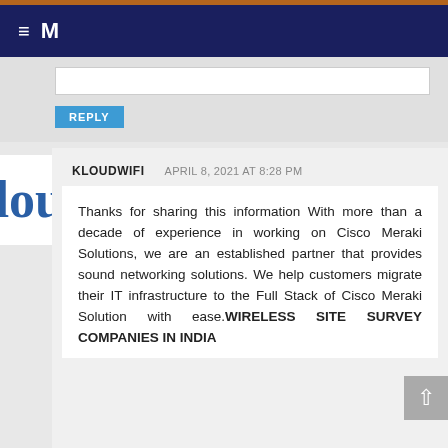≡ M
REPLY
KLOUDWIFI   APRIL 8, 2021 AT 8:28 PM
Thanks for sharing this information With more than a decade of experience in working on Cisco Meraki Solutions, we are an established partner that provides sound networking solutions. We help customers migrate their IT infrastructure to the Full Stack of Cisco Meraki Solution with ease.WIRELESS SITE SURVEY COMPANIES IN INDIA